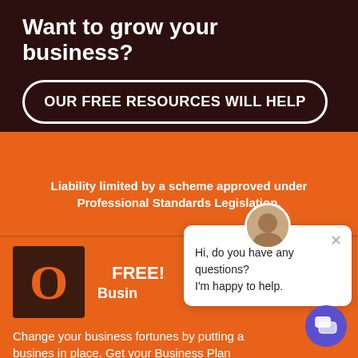Want to grow your business?
OUR FREE RESOURCES WILL HELP
Liability limited by a scheme approved under Professional Standards Legislation.
[Figure (other): Orange letter O logo on dark brown square background]
FREE! Busin...
[Figure (other): Chat popup with avatar showing: Hi, do you have any questions? I'm happy to help.]
Change your business fortunes by putting a business in place. Get your Business Plan Template now!